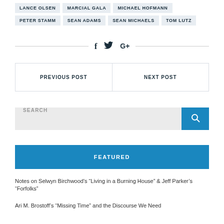LANCE OLSEN
MARCIAL GALA
MICHAEL HOFMANN
PETER STAMM
SEAN ADAMS
SEAN MICHAELS
TOM LUTZ
[Figure (infographic): Social sharing icons: Facebook (f), Twitter (bird), Google+]
PREVIOUS POST | NEXT POST
SEARCH
FEATURED
Notes on Selwyn Birchwood's “Living in a Burning House” & Jeff Parker’s “Forfolks”
Ari M. Brostoff’s “Missing Time” and the Discourse We Need